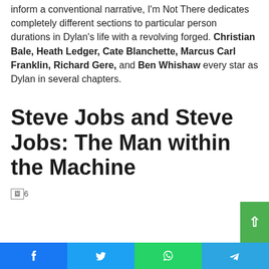inform a conventional narrative, I'm Not There dedicates completely different sections to particular person durations in Dylan's life with a revolving forged. Christian Bale, Heath Ledger, Cate Blanchette, Marcus Carl Franklin, Richard Gere, and Ben Whishaw every star as Dylan in several chapters.
Steve Jobs and Steve Jobs: The Man within the Machine
[Figure (other): Broken image placeholder with label '6']
Social share bar with Facebook, Twitter, WhatsApp, Telegram icons